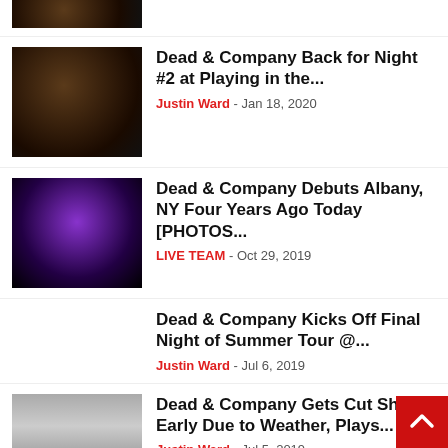[Figure (photo): Partial thumbnail of a photo, cropped at the top of the page]
Dead & Company Back for Night #2 at Playing in the... Justin Ward - Jan 18, 2020
[Figure (photo): Concert stage with purple and red lighting, Grateful Dead lightning bolt logo visible]
Dead & Company Debuts Albany, NY Four Years Ago Today [PHOTOS... LIVE TEAM - Oct 29, 2019
Dead & Company Kicks Off Final Night of Summer Tour @... Justin Ward - Jul 6, 2019
[Figure (photo): Blurry weather/storm photo, partially visible at bottom of page]
Dead & Company Gets Cut Short Early Due to Weather, Plays... Justin Ward - Jul 5, 2019